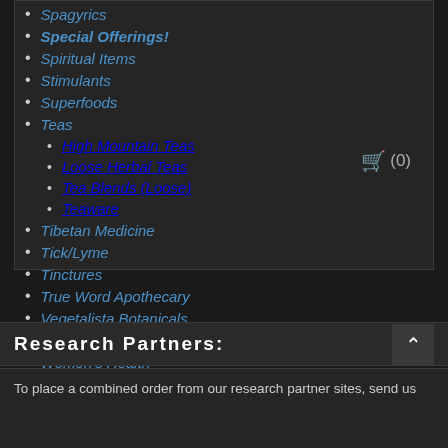Spagyrics
Special Offerings!
Spiritual Items
Stimulants
Superfoods
Teas
High Mountain Teas
Loose Herbal Teas
Tea Blends (Loose)
Teaware
Tibetan Medicine
Tick/Lyme
Tinctures
True Word Apothecary
Vegetalista Botanicals
Water Treatment
Women's Health
Research Partners:
To place a combined order from our research partner sites, send us